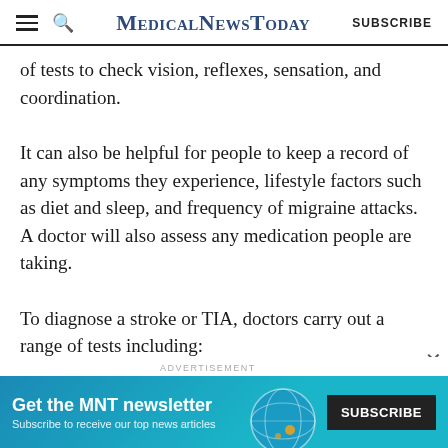MedicalNewsToday | SUBSCRIBE
of tests to check vision, reflexes, sensation, and coordination.
It can also be helpful for people to keep a record of any symptoms they experience, lifestyle factors such as diet and sleep, and frequency of migraine attacks. A doctor will also assess any medication people are taking.
To diagnose a stroke or TIA, doctors carry out a range of tests including:
MRI or CT scans to provide imaging of the brain
[Figure (screenshot): Advertisement banner: Get the MNT newsletter. Subscribe to receive our top news articles. SUBSCRIBE button on dark background, with globe illustration.]